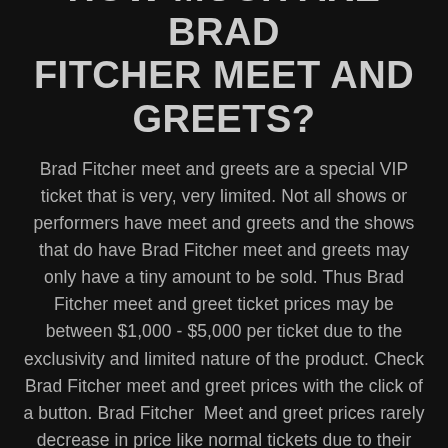HOW MUCH ARE BRAD FITCHER MEET AND GREETS?
Brad Fitcher meet and greets are a special VIP ticket that is very, very limited. Not all shows or performers have meet and greets and the shows that do have Brad Fitcher meet and greets may only have a tiny amount to be sold. Thus Brad Fitcher meet and greet ticket prices may be between $1,000 - $5,000 per ticket due to the exclusivity and limited nature of the product. Check Brad Fitcher meet and greet prices with the click of a button. Brad Fitcher  Meet and greet prices rarely decrease in price like normal tickets due to their limited and exclusive nature.